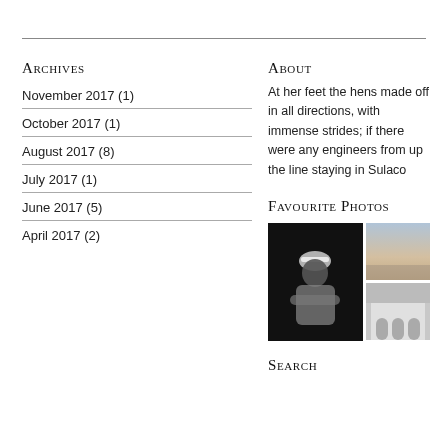Archives
November 2017 (1)
October 2017 (1)
August 2017 (8)
July 2017 (1)
June 2017 (5)
April 2017 (2)
About
At her feet the hens made off in all directions, with immense strides; if there were any engineers from up the line staying in Sulaco
Favourite Photos
[Figure (photo): Black and white photo of a man in a white cap with arms crossed, and two smaller photos: a sky/horizon scene and a building with arches]
Search